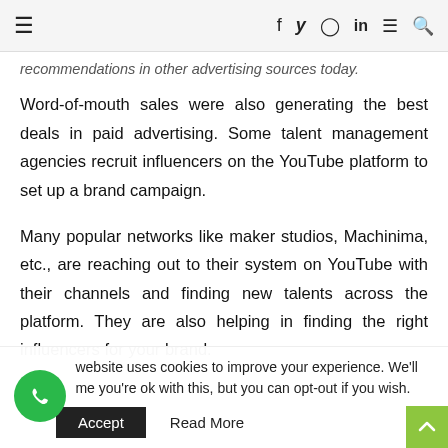≡   f  𝕏  ⊙  in  ≡  🔍
recommendations in other advertising sources today. Word-of-mouth sales were also generating the best deals in paid advertising. Some talent management agencies recruit influencers on the YouTube platform to set up a brand campaign.
Many popular networks like maker studios, Machinima, etc., are reaching out to their system on YouTube with their channels and finding new talents across the platform. They are also helping in finding the right influencers for your brand.
This website uses cookies to improve your experience. We'll assume you're ok with this, but you can opt-out if you wish.